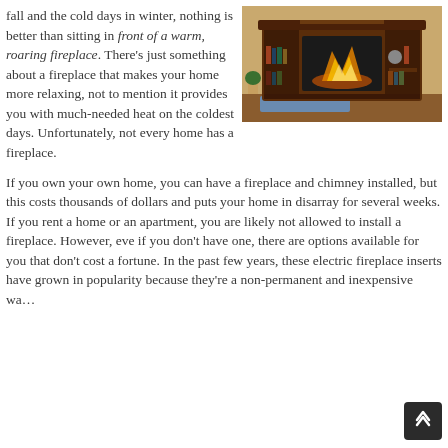fall and the cold days in winter, nothing is better than sitting in front of a warm, roaring fireplace. There's just something about a fireplace that makes your home more relaxing, not to mention it provides you with much-needed heat on the coldest days. Unfortunately, not every home has a fireplace.
[Figure (photo): A dark wood electric fireplace mantel with bookshelves on either side, glowing fire visible inside, set against a beige wall with a blue rug on the floor.]
If you own your own home, you can have a fireplace and chimney installed, but this costs thousands of dollars and puts your home in disarray for several weeks. If you rent a home or an apartment, you are likely not allowed to install a fireplace. However, eve if you don't have one, there are options available for you that don't cost a fortune. In the past few years, these electric fireplace inserts have grown in popularity because they're a non-permanent and inexpensive wa…